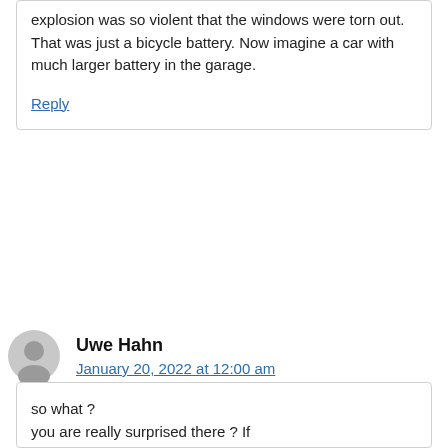explosion was so violent that the windows were torn out. That was just a bicycle battery. Now imagine a car with much larger battery in the garage.
Reply
Uwe Hahn
January 20, 2022 at 12:00 am
so what ? you are really surprised there ? If something would happen to it